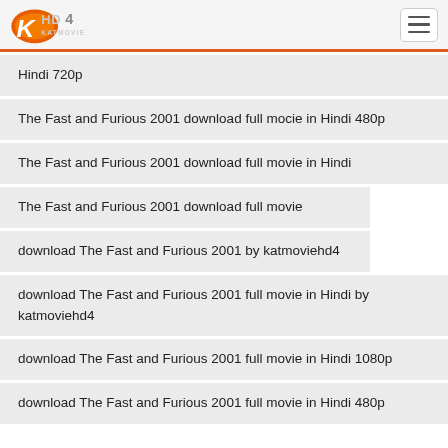KatMovieHD4 logo and navigation
Hindi 720p
The Fast and Furious 2001 download full mocie in Hindi 480p
The Fast and Furious 2001 download full movie in Hindi
The Fast and Furious 2001 download full movie
download The Fast and Furious 2001 by katmoviehd4
download The Fast and Furious 2001 full movie in Hindi by katmoviehd4
download The Fast and Furious 2001 full movie in Hindi 1080p
download The Fast and Furious 2001 full movie in Hindi 480p